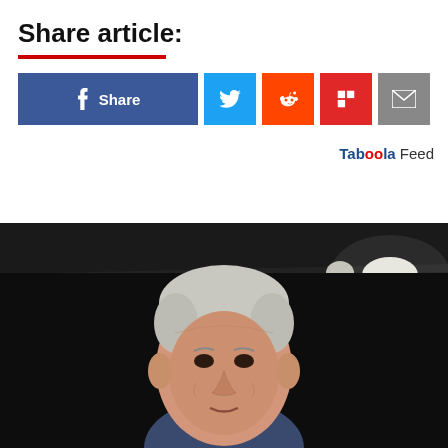Share article:
[Figure (infographic): Social share buttons: Facebook Share, Twitter, Reddit, Flipboard, Email]
Taboola Feed
[Figure (photo): Photo of an elderly man (Joe Biden) in front of a dark industrial background with bright overhead lights]